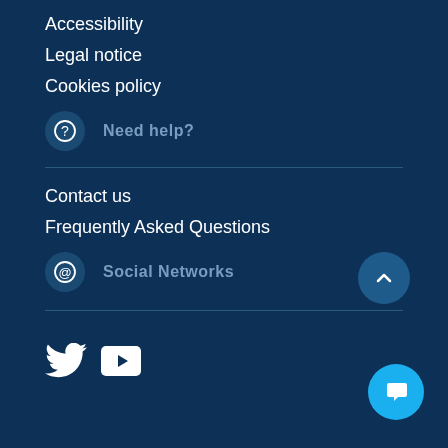Accessibility
Legal notice
Cookies policy
Need help?
Contact us
Frequently Asked Questions
Social Networks
[Figure (logo): Twitter bird icon and YouTube play button icon in white]
[Figure (other): Scroll to top button with upward chevron]
[Figure (other): Blue chat bubble button]